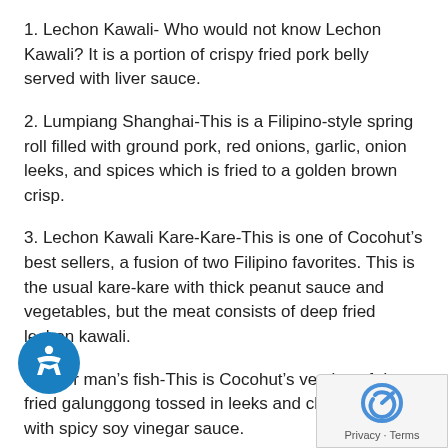1. Lechon Kawali- Who would not know Lechon Kawali? It is a portion of crispy fried pork belly served with liver sauce.
2. Lumpiang Shanghai-This is a Filipino-style spring roll filled with ground pork, red onions, garlic, onion leeks, and spices which is fried to a golden brown crisp.
3. Lechon Kawali Kare-Kare-This is one of Cocohut’s best sellers, a fusion of two Filipino favorites. This is the usual kare-kare with thick peanut sauce and vegetables, but the meat consists of deep fried lechon kawali.
4. Poor man’s fish-This is Cocohut’s version of deep-fried galunggong tossed in leeks and chili served with spicy soy vinegar sauce.
5. Tahong Soup-Cocohut’s tahong soup isn’t your usual